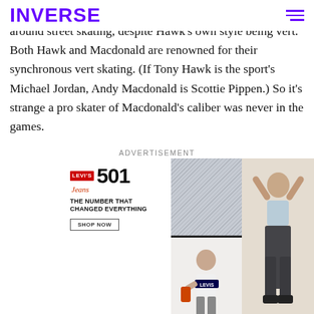INVERSE
('Vert') skating; most of the Pro Skater series revolved around street skating, despite Hawk's own style being vert. Both Hawk and Macdonald are renowned for their synchronous vert skating. (If Tony Hawk is the sport's Michael Jordan, Andy Macdonald is Scottie Pippen.) So it's strange a pro skater of Macdonald's caliber was never in the games.
ADVERTISEMENT
[Figure (photo): Levi's 501 Jeans advertisement with tagline 'THE NUMBER THAT CHANGED EVERYTHING' and 'SHOP NOW' button, alongside photos of a woman modeling jeans]